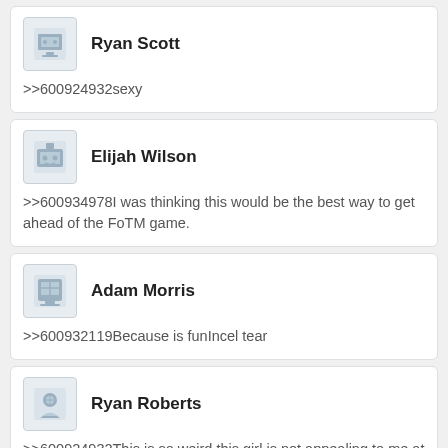Ryan Scott
>>600924932sexy
Elijah Wilson
>>600934978I was thinking this would be the best way to get ahead of the FoTM game.
Adam Morris
>>600932119Because is funIncel tear
Ryan Roberts
>>600924932This is so weird this girl is not appealing to me at all but the rival is qt